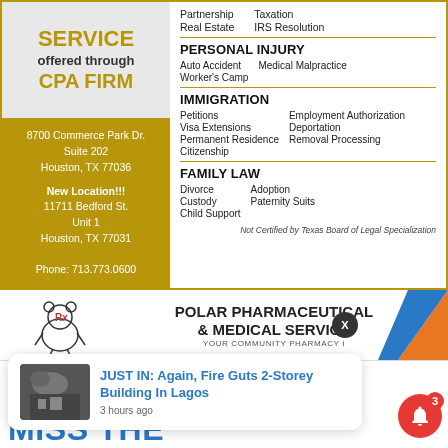SERVICE offered through CPA FIRM
8700 Commerce Park Dr. Suite 202 Houston, TX 77036
New Location!!!
11711 Bedford St. Unit 1
Houston, TX 77031
Phone: 713.773.0600
Partnership  Taxation
Real Estate  IRS Resolution
PERSONAL INJURY
Auto Accident  Medical Malpractice
Worker's Camp
IMMIGRATION
Petitions  Employment Authorization
Visa Extensions  Deportation
Permanent Residence  Removal Processing
Citizenship
FAMILY LAW
Divorce  Adoption
Custody  Paternity Suits
Child Support
Not Certified by Texas Board of Legal Specialization
[Figure (logo): Polar Pharmaceutical & Medical Service logo with bear holding mortar and pestle]
POLAR PHARMACEUTICAL & MEDICAL SERVICE
YOUR COMMUNITY PHARMACY I
JUST IN: Again, Fire Guts 2-Storey Building In Lagos
3 hours ago
MISS THE